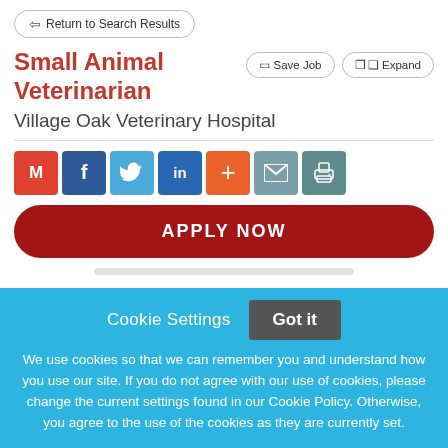Return to Search Results
Small Animal Veterinarian
Village Oak Veterinary Hospital
[Figure (infographic): Social sharing icons: Gmail, Facebook, Twitter, LinkedIn, Plus, Mail, Print]
APPLY NOW
Cookie Settings
Got it
We use cookies so that we can remember you and understand how you use our site. If you do not agree with our use of cookies, please change the current settings found in our Cookie Policy. Otherwise, you agree to the use of the cookies as they are currently set.